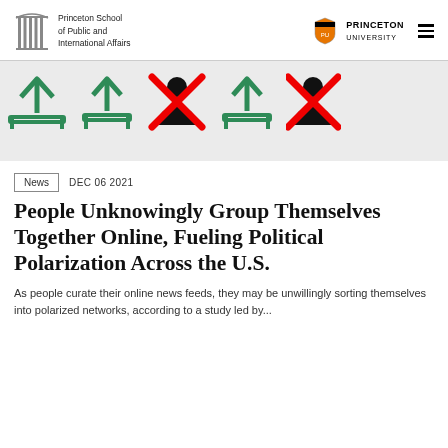Princeton School of Public and International Affairs | Princeton University
[Figure (illustration): Icon strip showing alternating upload/share icons (green) and crossed-out person icons (red X over black figure), repeating across a light gray banner.]
News   DEC 06 2021
People Unknowingly Group Themselves Together Online, Fueling Political Polarization Across the U.S.
As people curate their online news feeds, they may be unwillingly sorting themselves into polarized networks, according to a study led by...